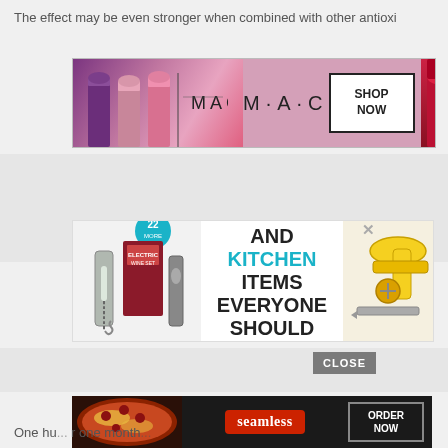The effect may be even stronger when combined with other antioxi
[Figure (photo): MAC cosmetics advertisement showing lipsticks with 'SHOP NOW' button]
[Figure (photo): Advertisement: '37 HOME AND KITCHEN ITEMS EVERYONE SHOULD OWN' with kitchen gadgets and a 22 badge]
CLOSE
[Figure (photo): Seamless food delivery advertisement with pizza image and 'ORDER NOW' button]
One hu... r one month...